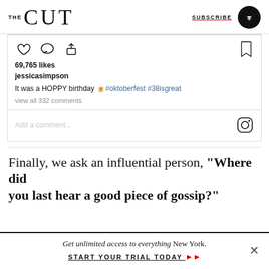THE CUT | SUBSCRIBE
[Figure (screenshot): Instagram post interaction bar showing heart, comment, share icons on left and bookmark icon on right. Shows 69,765 likes, username jessicasimpson, caption 'It was a HOPPY birthday 🍺#oktoberfest #38isgreat', view all 332 comments, and Add a comment input with Instagram logo.]
Finally, we ask an influential person, "Where did you last hear a good piece of gossip?"
Get unlimited access to everything New York. START YOUR TRIAL TODAY ▶▶